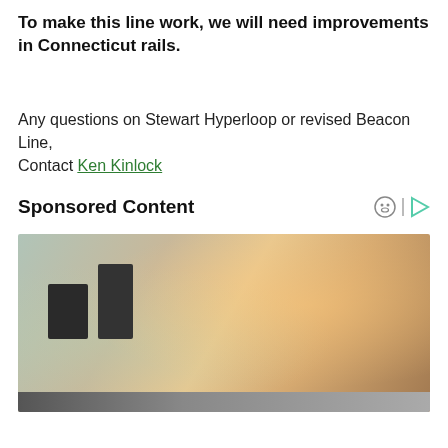To make this line work, we will need improvements in Connecticut rails.
Any questions on Stewart Hyperloop or revised Beacon Line, Contact Ken Kinlock
Sponsored Content
[Figure (photo): Two office workers wearing headsets sitting at computer workstations in a bright office environment.]
Privacy & Cookies: This site uses cookies. By continuing to use this website, you agree to their use. To find out more, including how to control cookies, see here: Cookie Policy